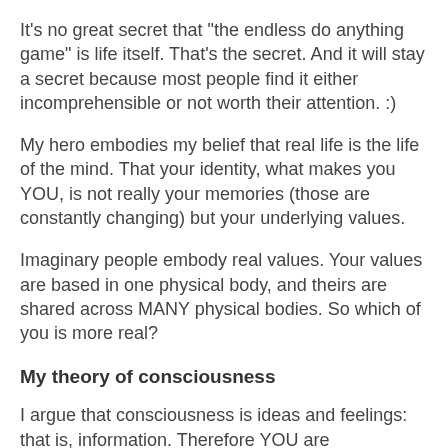It's no great secret that "the endless do anything game" is life itself. That's the secret. And it will stay a secret because most people find it either incomprehensible or not worth their attention. :)
My hero embodies my belief that real life is the life of the mind. That your identity, what makes you YOU, is not really your memories (those are constantly changing) but your underlying values.
Imaginary people embody real values. Your values are based in one physical body, and theirs are shared across MANY physical bodies. So which of you is more real?
My theory of consciousness
I argue that consciousness is ideas and feelings: that is, information. Therefore YOU are information, and your physical body is merely a carrier. And since information can easily spread, so YOU spread out. So death is no barrier. So life is endless and you can (eventually) do anything. Hence